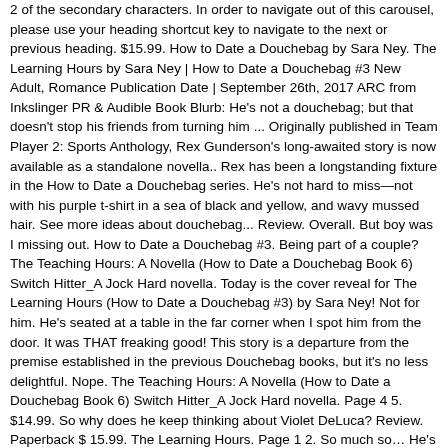2 of the secondary characters. In order to navigate out of this carousel, please use your heading shortcut key to navigate to the next or previous heading. $15.99. How to Date a Douchebag by Sara Ney. The Learning Hours by Sara Ney | How to Date a Douchebag #3 New Adult, Romance Publication Date | September 26th, 2017 ARC from Inkslinger PR & Audible Book Blurb: He's not a douchebag; but that doesn't stop his friends from turning him ... Originally published in Team Player 2: Sports Anthology, Rex Gunderson's long-awaited story is now available as a standalone novella.. Rex has been a longstanding fixture in the How to Date a Douchebag series. He's not hard to miss—not with his purple t-shirt in a sea of black and yellow, and wavy mussed hair. See more ideas about douchebag... Review. Overall. But boy was I missing out. How to Date a Douchebag #3. Being part of a couple? The Teaching Hours: A Novella (How to Date a Douchebag Book 6) Switch Hitter_A Jock Hard novella. Today is the cover reveal for The Learning Hours (How to Date a Douchebag #3) by Sara Ney! Not for him. He's seated at a table in the far corner when I spot him from the door. It was THAT freaking good! This story is a departure from the premise established in the previous Douchebag books, but it's no less delightful. Nope. The Teaching Hours: A Novella (How to Date a Douchebag Book 6) Switch Hitter_A Jock Hard novella. Page 4 5. $14.99. So why does he keep thinking about Violet DeLuca? Review. Paperback $ 15.99. The Learning Hours. Page 1 2. So much so… He's not a douchebag; but that